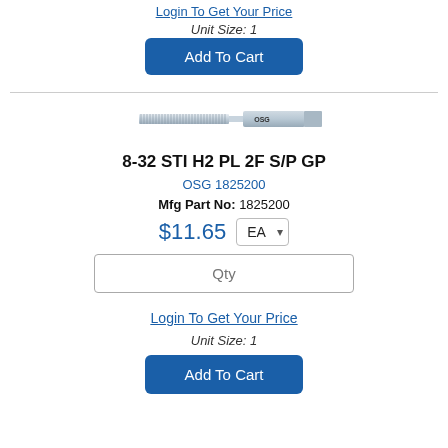Login To Get Your Price
Unit Size: 1
Add To Cart
[Figure (photo): A silver machine tap tool (8-32 STI H2 PL 2F S/P GP) shown horizontally against a white background. The tap has threading on the left end and a square shank on the right.]
8-32 STI H2 PL 2F S/P GP
OSG 1825200
Mfg Part No: 1825200
$11.65
Qty
Login To Get Your Price
Unit Size: 1
Add To Cart